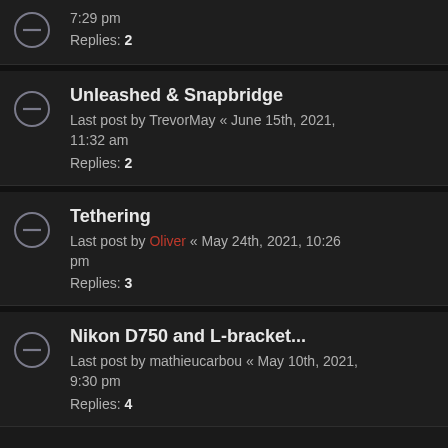7:29 pm
Replies: 2
Unleashed & Snapbridge
Last post by TrevorMay « June 15th, 2021, 11:32 am
Replies: 2
Tethering
Last post by Oliver « May 24th, 2021, 10:26 pm
Replies: 3
Nikon D750 and L-bracket...
Last post by mathieucarbou « May 10th, 2021, 9:30 pm
Replies: 4